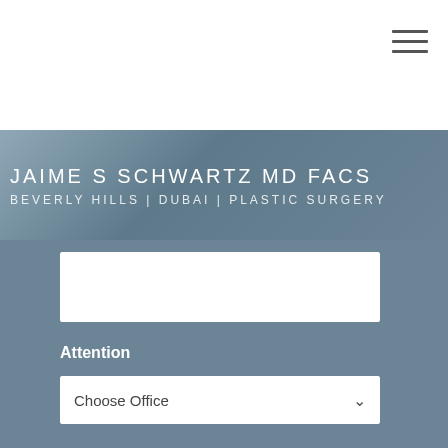[Figure (screenshot): Website header with hamburger menu icon (three horizontal lines) in top-right corner of white bar]
JAIME S SCHWARTZ MD FACS
BEVERLY HILLS | DUBAI | PLASTIC SURGERY
Attention
Choose Office
SUBMIT